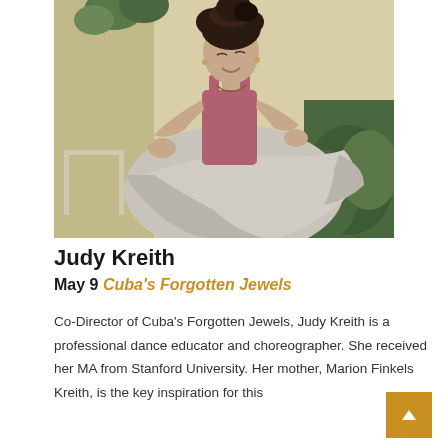[Figure (photo): A woman dancing, wearing a pink/mauve tank top and a flowing grey/white skirt, standing in front of a light yellow wall with plants. She has curly dark hair pulled up and is smiling, holding the wide skirt with both hands.]
Judy Kreith
May 9 Cuba's Forgotten Jewels
Co-Director of Cuba's Forgotten Jewels, Judy Kreith is a professional dance educator and choreographer. She received her MA from Stanford University. Her mother, Marion Finkels Kreith, is the key inspiration for this